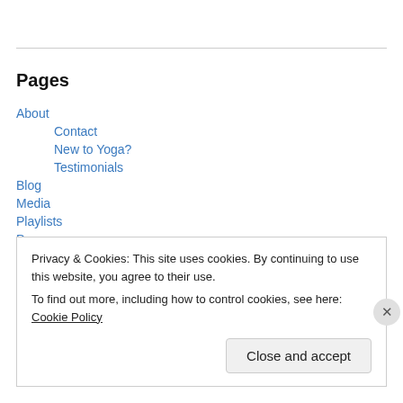Pages
About
Contact
New to Yoga?
Testimonials
Blog
Media
Playlists
Press
Privacy & Cookies: This site uses cookies. By continuing to use this website, you agree to their use.
To find out more, including how to control cookies, see here: Cookie Policy
Close and accept